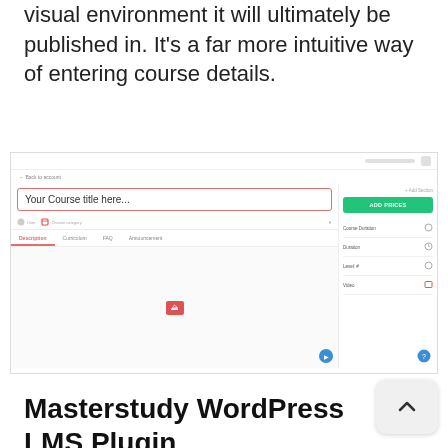visual environment it will ultimately be published in. It's a far more intuitive way of entering course details.
[Figure (screenshot): Screenshot of a WordPress LMS course editor interface showing 'Your Course title here...' input field, ADD PRICES button in green, tabs for Description, Curriculum, FAQ, Announcement, and right sidebar with fields for Duration, Level, Video.]
Masterstudy WordPress LMS Plugin